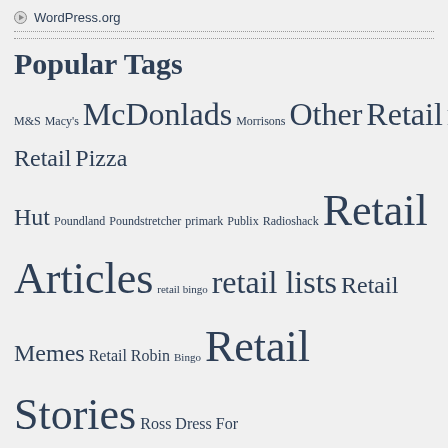WordPress.org
Popular Tags
M&S Macy's McDonlads Morrisons Other Retail Pharmacy Retail Pizza Hut Poundland Poundstretcher primark Publix Radioshack Retail Articles retail bingo retail lists Retail Memes Retail Robin Bingo Retail Stories Ross Dress For Less Safeway Sainsbury's sears Starbucks Stupid Customers Subscriber submissions Subway Taco Bell Target Tesco Thrift Stores Tim Hortons toys r us Uncategorized Valentines Day Videos Walgreens